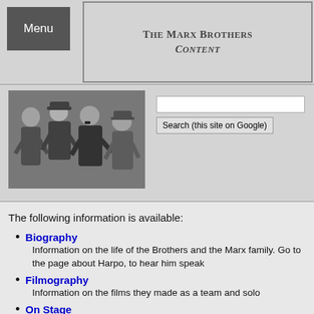Menu
The Marx Brothers Content
[Figure (photo): Black and white photo of the four Marx Brothers posing together]
The following information is available:
Biography - Information on the life of the Brothers and the Marx family. Go to the page about Harpo, to hear him speak
Filmography - Information on the films they made as a team and solo
On Stage - Information on the shows they did in their vaudeville days